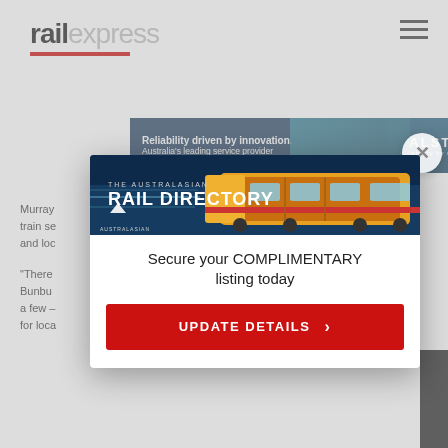[Figure (logo): Rail Express logo: 'rail' in bold black, 'express' in light grey, with red underline bar]
[Figure (screenshot): Alstom advertisement banner: dark navy background with text 'Reliability driven by innovation. Australia's leading service provider' and Alstom logo on right]
Murray... train se... and loc...
“There... Bunbu... a few – for loca...
[Figure (screenshot): Modal popup: The Australasian Rail Directory advertisement with image of train, text 'Secure your COMPLIMENTARY listing today' and red UPDATE DETAILS button]